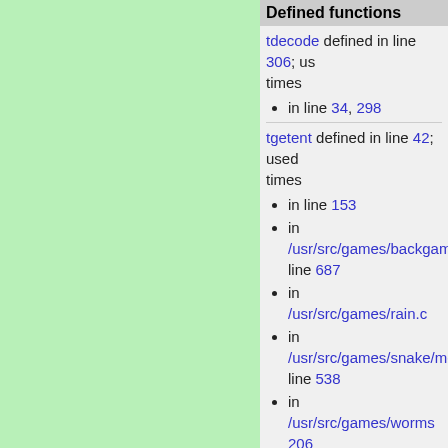Defined functions
tdecode defined in line 306; used 2 times
in line 34, 298
tgetent defined in line 42; used 7 times
in line 153
in /usr/src/games/backgam line 687
in /usr/src/games/rain.c
in /usr/src/games/snake/me line 538
in /usr/src/games/worms 206
in /usr/src/new/B/src/bed/g line 605
in /usr/src/new/B/src/bed/v line 457, 474
in /usr/src/new/X/xterm line 952-954(3)